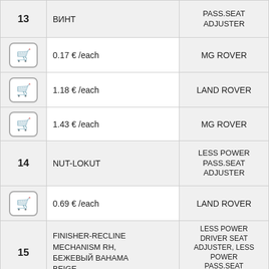| # | Description/Price | Category | Photo |
| --- | --- | --- | --- |
| 13 | ВИНТ / PASS.SEAT ADJUSTER |  |  |
|  | 0.17 € /each | MG ROVER |  |
|  | 1.18 € /each | LAND ROVER |  |
|  | 1.43 € /each | MG ROVER |  |
| 14 | NUT-LOKUT / LESS POWER PASS.SEAT ADJUSTER |  |  |
|  | 0.69 € /each | LAND ROVER |  |
| 15 | FINISHER-RECLINE MECHANISM RH, БЕЖЕВЫЙ BAHAMA BEIGE / LESS POWER DRIVER SEAT ADJUSTER, LESS POWER PASS.SEAT ADJUSTER |  |  |